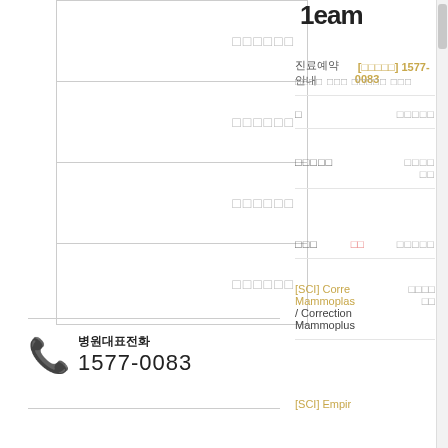| □□□□□□ |
| □□□□□□ |
| □□□□□□ |
| □□□□□□ |
병원대표전화 1577-0083
1eam
진료예약 안내 [□□□□□] 1577-0083
□□□□□ □□□□□ □□□
□ □□□□□
□□□□□ □□□□ □□
□□□ □□ □□□□□
[SCI] Corre Mammoplas / Correction Mammoplus
□□□□ □□
[SCI] Empir